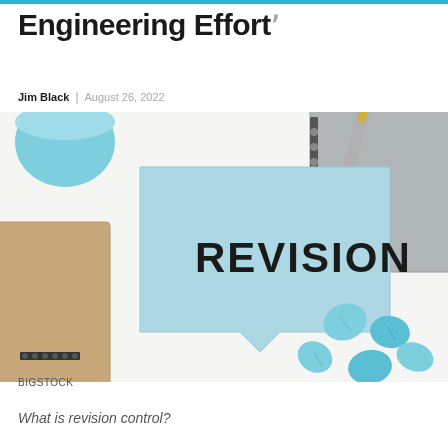Engineering Effort
Jim Black | August 26, 2022
[Figure (photo): A blue sticky note with the word REVISION written in bold black letters, placed on a white desk surface alongside crumpled blue paper balls, a spiral notebook, a pen, and a blue mug. The scene evokes revision and editing processes.]
Bigstock
What is revision control?